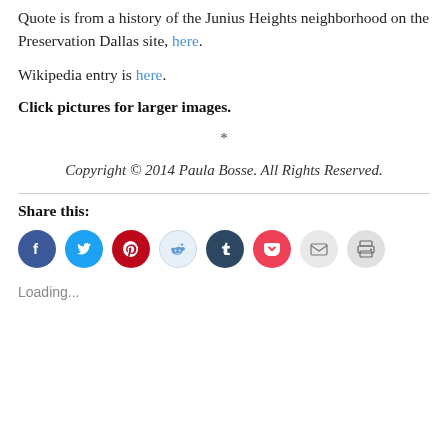Quote is from a history of the Junius Heights neighborhood on the Preservation Dallas site, here.
Wikipedia entry is here.
Click pictures for larger images.
*
Copyright © 2014 Paula Bosse. All Rights Reserved.
Share this:
[Figure (infographic): Row of social sharing icon buttons: Facebook (blue), Twitter (light blue), Pinterest (red), Reddit (light blue/white), Tumblr (dark blue), Pocket (red), Email (light gray), Print (light gray)]
Loading...